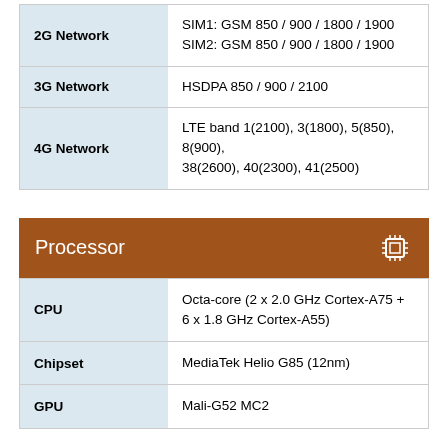| Feature | Value |
| --- | --- |
| 2G Network | SIM1: GSM 850 / 900 / 1800 / 1900
SIM2: GSM 850 / 900 / 1800 / 1900 |
| 3G Network | HSDPA 850 / 900 / 2100 |
| 4G Network | LTE band 1(2100), 3(1800), 5(850), 8(900), 38(2600), 40(2300), 41(2500) |
Processor
| Feature | Value |
| --- | --- |
| CPU | Octa-core (2 x 2.0 GHz Cortex-A75 + 6 x 1.8 GHz Cortex-A55) |
| Chipset | MediaTek Helio G85 (12nm) |
| GPU | Mali-G52 MC2 |
Display